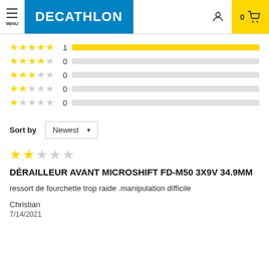[Figure (logo): Decathlon website header with hamburger menu, Decathlon blue logo, user icon, and cart (0 items) on yellow background]
[Figure (bar-chart): Star rating distribution]
Sort by  Newest
[Figure (illustration): 2-star rating shown as two gold stars and three gray stars]
DÉRAILLEUR AVANT MICROSHIFT FD-M50 3X9V 34.9MM
ressort de fourchette trop raide .manipulation difficile
Christian
7/14/2021